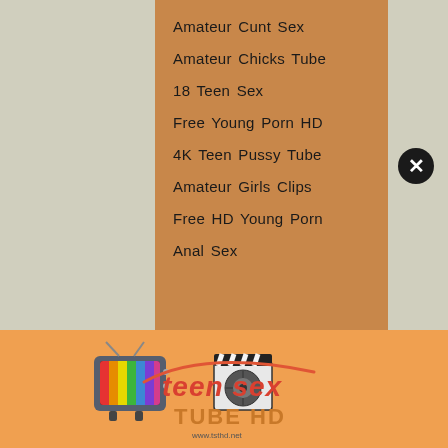Amateur Cunt Sex
Amateur Chicks Tube
18 Teen Sex
Free Young Porn HD
4K Teen Pussy Tube
Amateur Girls Clips
Free HD Young Porn
Anal Sex
[Figure (logo): Teen Sex Tube HD logo with a retro TV showing rainbow colors and a film clapperboard, with text 'teen sex TUBE HD' and 'www.tsthd.net']